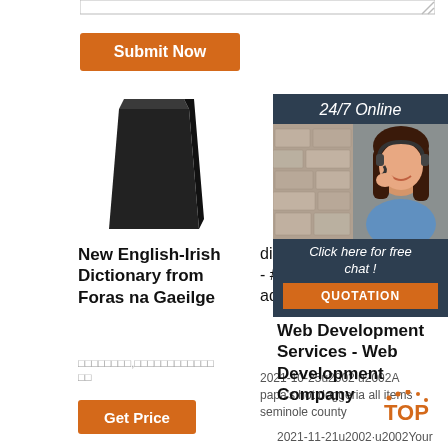[Figure (screenshot): Bottom edge of a textarea input field with resize handle]
Submit Now
[Figure (photo): Black rectangular prism / foam block product image]
New English-Irish Dictionary from Foras na Gaeilge
□□□□□□□□,□□□□□□□□□□□□
Get Price
[Figure (photo): Grey concrete or stone rectangular block product image]
diploma maschinenbau - #adessonews adessonews
2021-10-25u2002·u2002A papa's hot doggeria all items seminole county
[Figure (photo): Stone wall/steps background with customer service woman wearing headset, 24/7 Online chat advertisement]
Click here for free chat !
QUOTATION
Web Development Services - Web Development Company
2021-11-21u2002·u2002Your